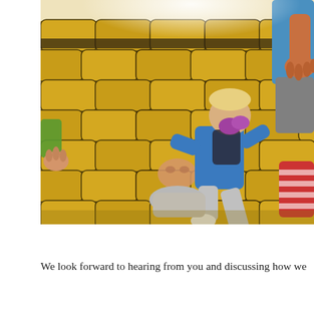[Figure (photo): Children climbing on a large yellow inflatable bounce castle/obstacle wall. A boy in a blue t-shirt and gray pants is mid-jump, another child is pressed against the wall, and a child in a red-striped shirt is visible on the right. An adult in a blue shirt reaches down from the top right corner.]
We look forward to hearing from you and discussing how we can provide a wonderful experience.